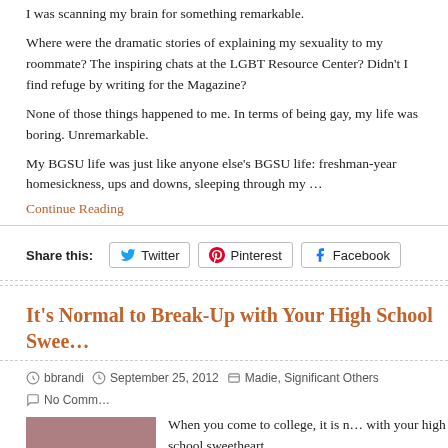I was scanning my brain for something remarkable.
Where were the dramatic stories of explaining my sexuality to my roommate? The inspiring chats at the LGBT Resource Center? Didn't I find refuge by writing for the Magazine?
None of those things happened to me. In terms of being gay, my life was boring. Unremarkable.
My BGSU life was just like anyone else's BGSU life: freshman-year homesickness, ups and downs, sleeping through my …
Continue Reading
Share this: Twitter Pinterest Facebook
It's Normal to Break-Up with Your High School Swee…
bbrandi  September 25, 2012  Madie, Significant Others  No Comm…
When you come to college, it is n… with your high school sweetheart. College is a much different plac…